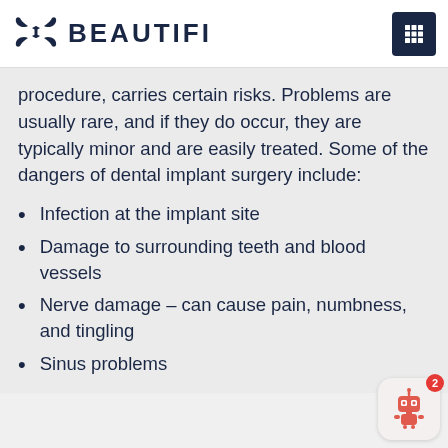[Figure (logo): Beautifi logo with stylized butterfly/bow icon and text BEAUTIFI in dark navy]
procedure, carries certain risks. Problems are usually rare, and if they do occur, they are typically minor and are easily treated. Some of the dangers of dental implant surgery include:
Infection at the implant site
Damage to surrounding teeth and blood vessels
Nerve damage – can cause pain, numbness, and tingling
Sinus problems